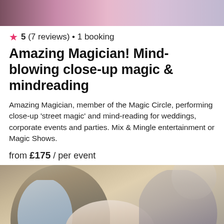[Figure (photo): Top partial photo showing people at an event, cropped at top of page]
5 (7 reviews) • 1 booking
Amazing Magician! Mind-blowing close-up magic & mindreading
Amazing Magician, member of the Magic Circle, performing close-up 'street magic' and mind-reading for weddings, corporate events and parties. Mix & Mingle entertainment or Magic Shows.
from £175 / per event
[Figure (photo): Photo of a smiling magician in a grey blazer performing at a wedding reception, with a laughing young man seated in front]